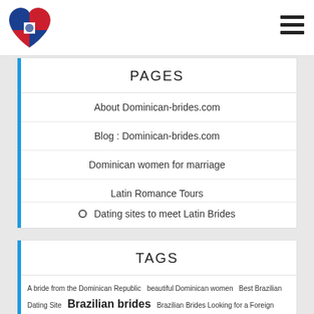[Figure (logo): Heart-shaped logo with Dominican Republic flag colors (red, white, blue) and coat of arms]
PAGES
About Dominican-brides.com
Blog : Dominican-brides.com
Dominican women for marriage
Latin Romance Tours
Dating sites to meet Latin Brides
TAGS
A bride from the Dominican Republic   beautiful Dominican women   Best Brazilian Dating Site   Brazilian brides   Brazilian Brides Looking for a Foreign Husband